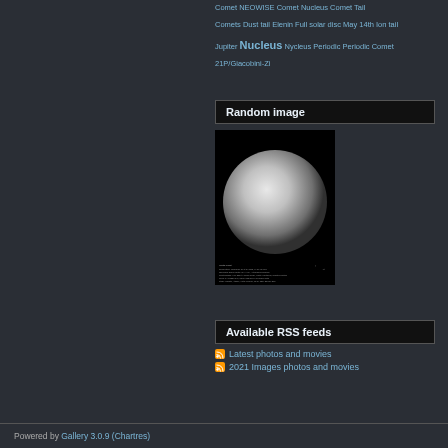Comet NEOWISE Comet Nucleus Comet Tail Comets Dust tail Elenin Full solar disc May 14th Ion tail Jupiter Nucleus Nycleus Periodic Periodic Comet 21P/Giacobini-Zi
Random image
[Figure (photo): Astronomical image showing a large bright sphere (planet or moon) against a black background, with small annotation text at the bottom]
Available RSS feeds
Latest photos and movies
2021 Images photos and movies
Powered by Gallery 3.0.9 (Chartres)